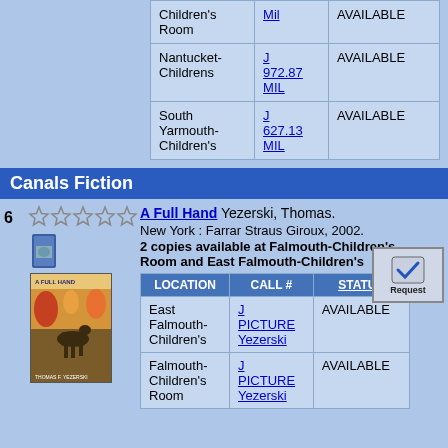| LOCATION | CALL # | STATUS |
| --- | --- | --- |
| Children's Room | Mil | AVAILABLE |
| Nantucket-Childrens | J 972.87 MIL | AVAILABLE |
| South Yarmouth-Children's | J 627.13 MIL | AVAILABLE |
Canals Fiction
6
[Figure (illustration): Book cover of A Full Hand showing a horse and rider in autumn landscape]
A Full Hand Yezerski, Thomas. New York : Farrar Straus Giroux, 2002. 2 copies available at Falmouth-Children's Room and East Falmouth-Children's
| LOCATION | CALL # | STATUS |
| --- | --- | --- |
| East Falmouth-Children's | J PICTURE Yezerski | AVAILABLE |
| Falmouth-Children's Room | J PICTURE Yezerski | AVAILABLE |